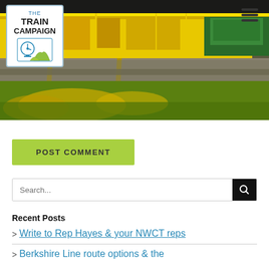[Figure (photo): Header photo of yellow railway maintenance machinery/train on tracks with green vegetation and yellow wildflowers in foreground. The Train Campaign logo overlaid on left side.]
POST COMMENT
Search...
Recent Posts
Write to Rep Hayes & your NWCT reps
Berkshire Line route options & the